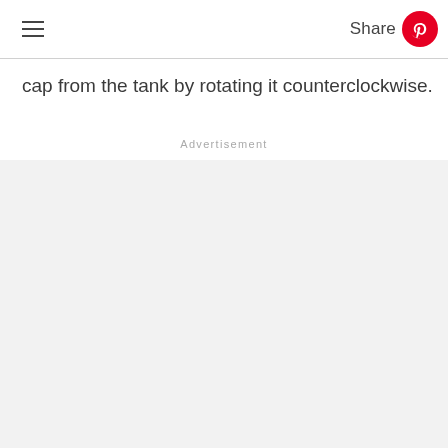≡  Share
cap from the tank by rotating it counterclockwise.
Advertisement